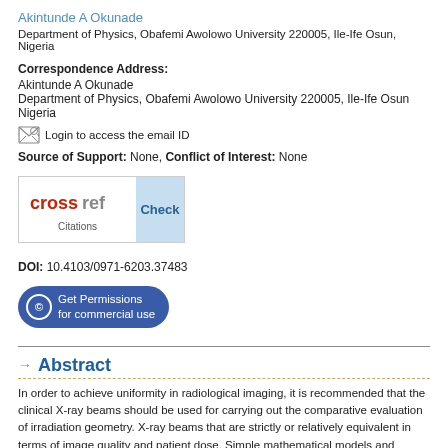Akintunde A Okunade
Department of Physics, Obafemi Awolowo University 220005, Ile-Ife Osun, Nigeria
Correspondence Address:
Akintunde A Okunade
Department of Physics, Obafemi Awolowo University 220005, Ile-Ife Osun
Nigeria
Login to access the email ID
Source of Support: None, Conflict of Interest: None
[Figure (logo): CrossRef Citations Check button]
DOI: 10.4103/0971-6203.37483
Get Permissions for commercial use
Abstract
In order to achieve uniformity in radiological imaging, it is recommended that the clinical X-ray beams should be used for carrying out the comparative evaluation of irradiation geometry. X-ray beams that are strictly or relatively equivalent in terms of image quality and patient dose. Simple mathematical models and software progr...